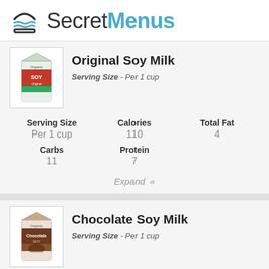SecretMenus
Original Soy Milk
Serving Size - Per 1 cup
| Serving Size | Calories | Total Fat |
| --- | --- | --- |
| Per 1 cup | 110 | 4 |
| Carbs | Protein |  |
| 11 | 7 |  |
Expand «
Chocolate Soy Milk
Serving Size - Per 1 cup
Serving Size   Calories   Total Fat